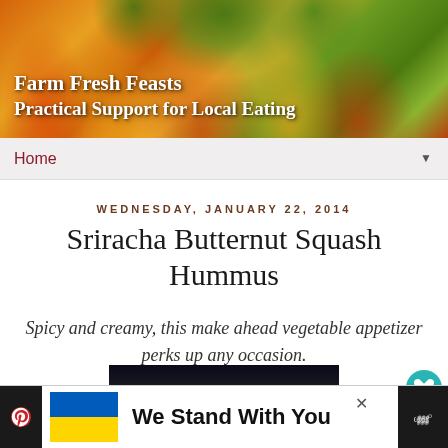[Figure (photo): Farm Fresh Feasts blog header banner with close-up photo of sunflower petals in orange and yellow with green leaves, overlaid with blog title text]
Farm Fresh Feasts
Practical Support for Local Eating
Home
Wednesday, January 22, 2014
Sriracha Butternut Squash Hummus
Spicy and creamy, this make ahead vegetable appetizer perks up any occasion.
[Figure (photo): Dark photo of butternut squash vegetables against a dark background, partially visible]
We Stand With You